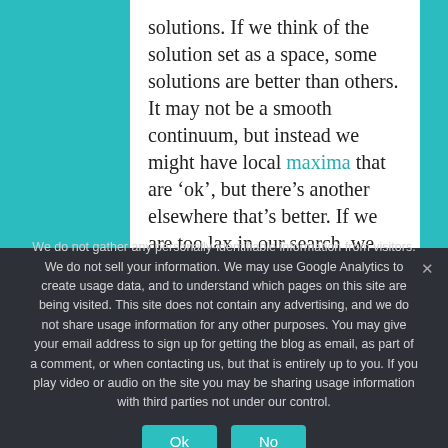solutions. If we think of the solution set as a space, some solutions are better than others. It may not be a smooth continuum, but instead we might have local maxima that are 'ok', but there's another elsewhere that's better. If we are too lax in our search, we might only find the local maxima. However, there are ways to increase the chances of exploring a broader space, making a more global
We do not gather any personally-identifiable information from visitors. We do not sell your information. We may use Google Analytics to create usage data, and to understand which pages on this site are being visited. This site does not contain any advertising, and we do not share usage information for any other purposes. You may give your email address to sign up for getting the blog as email, as part of a comment, or when contacting us, but that is entirely up to you. If you play video or audio on the site you may be sharing usage information with third parties not under our control.